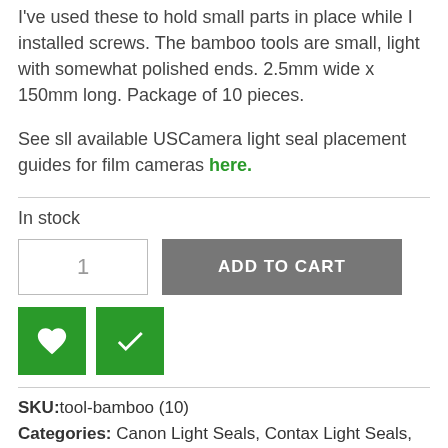I've used these to hold small parts in place while I installed screws. The bamboo tools are small, light with somewhat polished ends. 2.5mm wide x 150mm long. Package of 10 pieces.
See sll available USCamera light seal placement guides for film cameras here.
In stock
1  ADD TO CART
SKU: tool-bamboo (10)
Categories: Canon Light Seals, Contax Light Seals, Cosina Light Seals, Fuji Fujica Light Seals, Kalimar Light Seals,